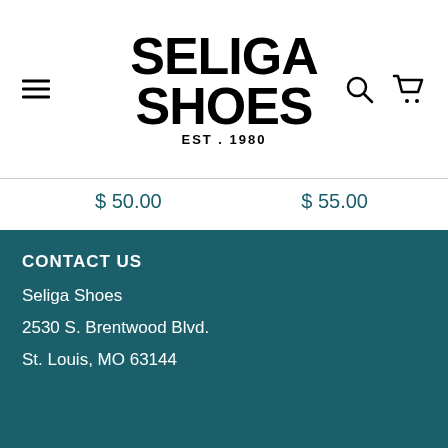[Figure (logo): Seliga Shoes logo with EST. 1980 tagline, bold black block letters]
$ 50.00
$ 55.00
CONTACT US
Seliga Shoes
2530 S. Brentwood Blvd.
St. Louis, MO 63144